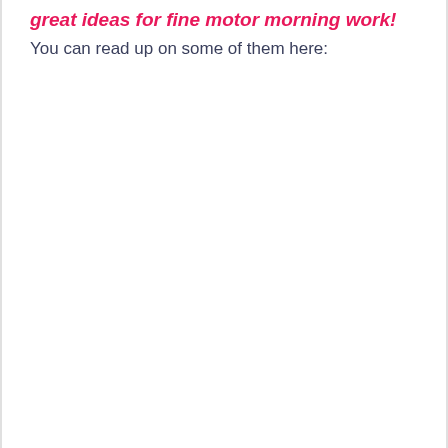great ideas for fine motor morning work!
You can read up on some of them here: